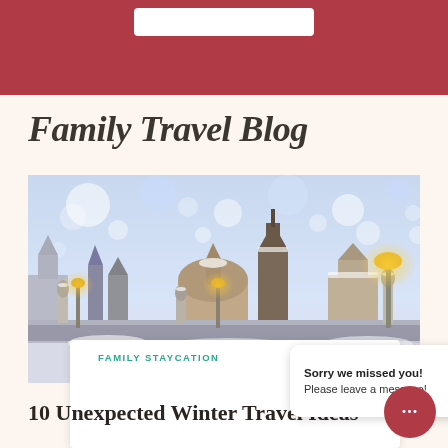Family Travel Blog
[Figure (photo): Winter cityscape of Prague with snow-covered baroque buildings, church domes, gothic towers, statues on a bridge, and glowing street lamps under a soft snowy bokeh sky]
FAMILY STAYCATION (partially obscured)
10 Unexpected Winter Travel Ideas